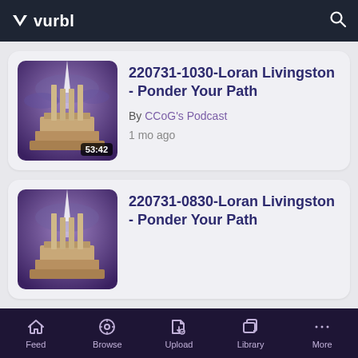vurbl
[Figure (screenshot): Podcast card showing 220731-1030-Loran Livingston - Ponder Your Path with thumbnail of church building on purple background, duration 53:42, By CCoG's Podcast, 1 mo ago]
[Figure (screenshot): Podcast card showing 220731-0830-Loran Livingston - Ponder Your Path with thumbnail of church building on purple background, partially visible]
Feed  Browse  Upload  Library  More